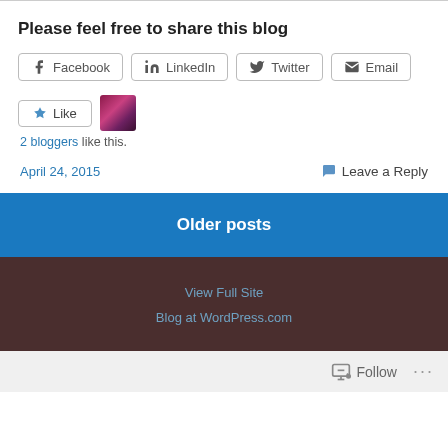Please feel free to share this blog
Facebook  LinkedIn  Twitter  Email
Like  [avatar thumbnail]
2 bloggers like this.
April 24, 2015   Leave a Reply
Older posts
View Full Site
Blog at WordPress.com
Follow  ...